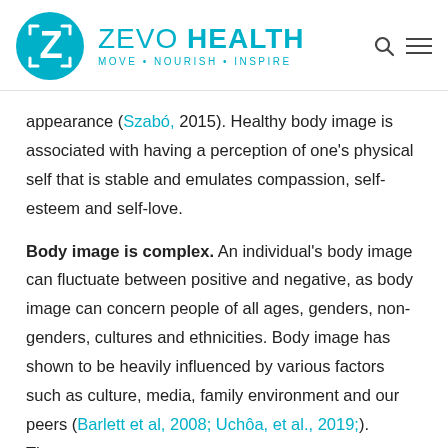[Figure (logo): Zevo Health logo: teal circle with white Z letter, followed by ZEVO HEALTH in teal bold text and tagline MOVE • NOURISH • INSPIRE, with search and menu icons on the right]
appearance (Szabó, 2015). Healthy body image is associated with having a perception of one's physical self that is stable and emulates compassion, self-esteem and self-love.
Body image is complex. An individual's body image can fluctuate between positive and negative, as body image can concern people of all ages, genders, non-genders, cultures and ethnicities. Body image has shown to be heavily influenced by various factors such as culture, media, family environment and our peers (Barlett et al, 2008; Uchôa, et al., 2019;). These